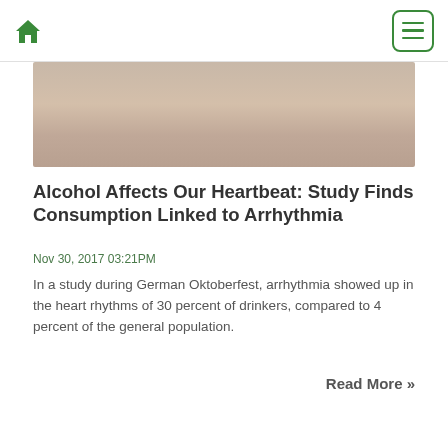Home | Menu
[Figure (photo): Blurred photo showing a wooden surface, likely a bar or table top, warm tones]
Alcohol Affects Our Heartbeat: Study Finds Consumption Linked to Arrhythmia
Nov 30, 2017 03:21PM
In a study during German Oktoberfest, arrhythmia showed up in the heart rhythms of 30 percent of drinkers, compared to 4 percent of the general population.
Read More »